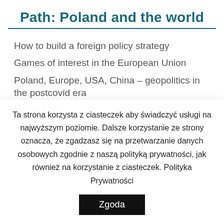Path: Poland and the world
How to build a foreign policy strategy
Games of interest in the European Union
Poland, Europe, USA, China – geopolitics in the postcovid era
China Belt...
Ta strona korzysta z ciasteczek aby świadczyć usługi na najwyższym poziomie. Dalsze korzystanie ze strony oznacza, że zgadzasz się na przetwarzanie danych osobowych zgodnie z naszą polityką prywatności, jak również na korzystanie z ciasteczek. Polityka Prywatności
Zgoda